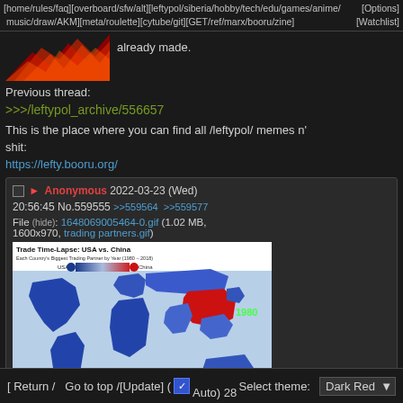[home/rules/faq][overboard/sfw/alt][leftypol/siberia/hobby/tech/edu/games/anime/music/draw/AKM][meta/roulette][cytube/git][GET/ref/marx/booru/zine]   [Options] [Watchlist]
[Figure (illustration): Banner image showing stylized red and orange flames/explosion graphic]
already made.
Previous thread:
>>>/leftypol_archive/556657
This is the place where you can find all /leftypol/ memes n' shit:
https://lefty.booru.org/
Anonymous 2022-03-23 (Wed) 20:56:45 No.559555  >>559564  >>559577
File (hide): 1648069005464-0.gif (1.02 MB, 1600x970, trading partners.gif)
[Figure (map): Trade Time-Lapse: USA vs. China. Each Country's Biggest Trading Partner by Year (1980-2018). World map showing trade partners with USA in blue and China in red. Year shown: 1980. Source: howmuch.net]
[ Return /  Go to top /[Update] ( Auto) 28   Select theme: Dark Red